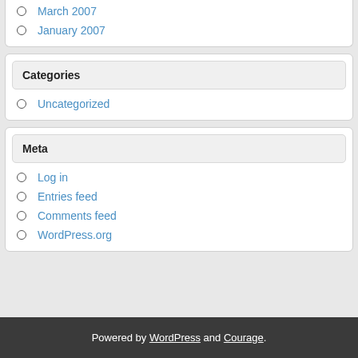March 2007
January 2007
Categories
Uncategorized
Meta
Log in
Entries feed
Comments feed
WordPress.org
Powered by WordPress and Courage.